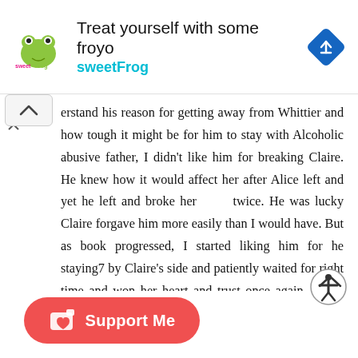[Figure (screenshot): Advertisement banner for sweetFrog frozen yogurt with logo, tagline 'Treat yourself with some froyo', brand name 'sweetFrog' in teal, and a blue navigation arrow icon on the right.]
erstand his reason for getting away from Whittier and how tough it might be for him to stay with Alcoholic abusive father, I didn't like him for breaking Claire. He knew how it would affect her after Alice left and yet he left and broke her twice. He was lucky Claire forgave him more easily than I would have. But as book progressed, I started liking him for he staying7 by Claire's side and patiently waited for right time and won her heart and trust once again. I love him for accepting and loving Claire for how she was. He truly was a
[Figure (other): Ko-fi Support Me button — red pill-shaped button with coffee cup icon and heart, labeled 'Support Me']